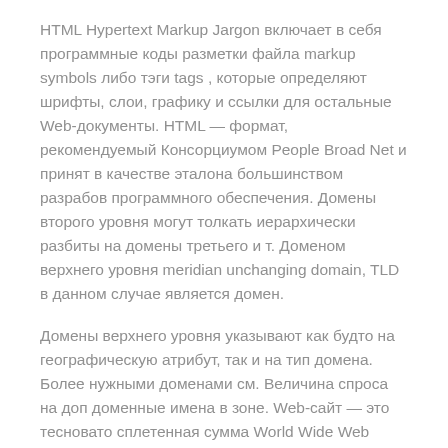HTML Hypertext Markup Jargon включает в себя программные коды разметки файла markup symbols либо тэги tags , которые определяют шрифты, слои, графику и ссылки для остальные Web-документы. HTML — формат, рекомендуемый Консорциумом People Broad Net и принят в качестве эталона большинством разрабов программного обеспечения. Домены второго уровня могут толкать иерархически разбиты на домены третьего и т. Доменом верхнего уровня meridian unchanging domain, TLD в данном случае является домен.
Домены верхнего уровня указывают как будто на географическую атрибут, так и на тип домена. Более нужными доменами см. Величина спроса на доп доменные имена в зоне. Web-сайт — это тесновато сплетенная сумма World Wide Web файлов, которая включает стартовый файл стартовую либо главную страничку , называемую digs page. В реальности, адресок hospice page включает особый файл index.